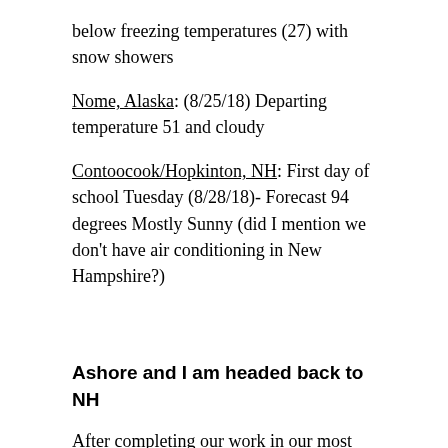below freezing temperatures (27) with snow showers
Nome, Alaska: (8/25/18) Departing temperature 51 and cloudy
Contoocook/Hopkinton, NH: First day of school Tuesday (8/28/18)- Forecast 94 degrees Mostly Sunny (did I mention we don't have air conditioning in New Hampshire?)
Ashore and I am headed back to NH
After completing our work in our most Northern point stop, we steamed back to Nome with just one more set of measurements on the way back, then had one final day of travel. It was sunny on the first day back but rougher